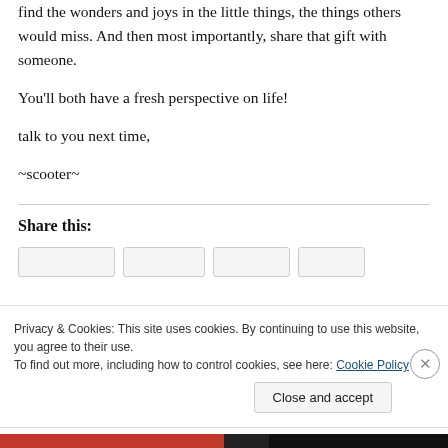find the wonders and joys in the little things, the things others would miss. And then most importantly, share that gift with someone.
You'll both have a fresh perspective on life!
talk to you next time,
~scooter~
Share this:
[Figure (screenshot): Cookie consent banner overlay with text: Privacy & Cookies: This site uses cookies. By continuing to use this website, you agree to their use. To find out more, including how to control cookies, see here: Cookie Policy. With a Close and accept button.]